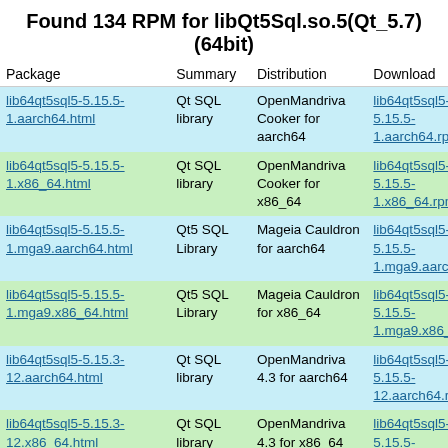Found 134 RPM for libQt5Sql.so.5(Qt_5.7)(64bit)
| Package | Summary | Distribution | Download |
| --- | --- | --- | --- |
| lib64qt5sql5-5.15.5-1.aarch64.html | Qt SQL library | OpenMandriva Cooker for aarch64 | lib64qt5sql5-5.15.5-1.aarch64.rpm |
| lib64qt5sql5-5.15.5-1.x86_64.html | Qt SQL library | OpenMandriva Cooker for x86_64 | lib64qt5sql5-5.15.5-1.x86_64.rpm |
| lib64qt5sql5-5.15.5-1.mga9.aarch64.html | Qt5 SQL Library | Mageia Cauldron for aarch64 | lib64qt5sql5-5.15.5-1.mga9.aarch64.rpm |
| lib64qt5sql5-5.15.5-1.mga9.x86_64.html | Qt5 SQL Library | Mageia Cauldron for x86_64 | lib64qt5sql5-5.15.5-1.mga9.x86_64.rpm |
| lib64qt5sql5-5.15.3-12.aarch64.html | Qt SQL library | OpenMandriva 4.3 for aarch64 | lib64qt5sql5-5.15.3-12.aarch64.rpm |
| lib64qt5sql5-5.15.3-12.x86_64.html | Qt SQL library | OpenMandriva 4.3 for x86_64 | lib64qt5sql5-5.15.3-12.x86_64.rpm |
| lib64qt5sql5-5.15.2-39.mga9.aarch64.html | Qt5 SQL Library | Mageia Cauldron for | lib64qt5sql5-5.15.2-39.mga9.aarch64.rpm |